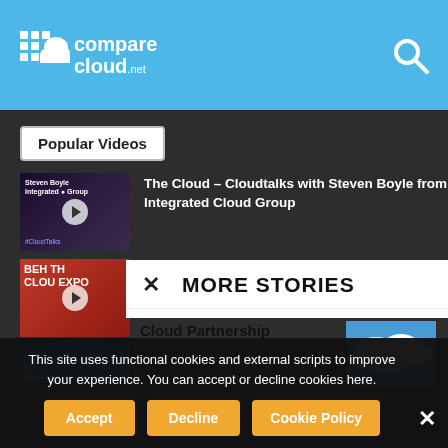comparecloud.net
Popular Videos
[Figure (screenshot): Video thumbnail for Steven Boyle Integrated Cloud Group CloudTalks video with play button]
The Cloud – Cloudtalks with Steven Boyle from Integrated Cloud Group
[Figure (screenshot): Video thumbnail for Behind the Cloud Expo video with play button]
[Figure (screenshot): Partial video thumbnail with blue background and 'disruptive' text]
MORE STORIES
Cloud Partnership Announced: CensorNet
[Figure (photo): Sky with clouds photo thumbnail]
This site uses functional cookies and external scripts to improve your experience. You can accept or decline cookies here.